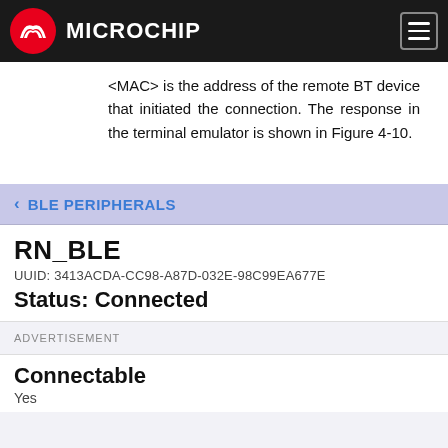Microchip
<MAC> is the address of the remote BT device that initiated the connection. The response in the terminal emulator is shown in Figure 4-10.
[Figure (screenshot): Mobile app screenshot showing BLE Peripherals screen with device RN_BLE, UUID: 3413ACDA-CC98-A87D-032E-98C99EA677E..., Status: Connected, and Advertisement section showing Connectable: Yes]